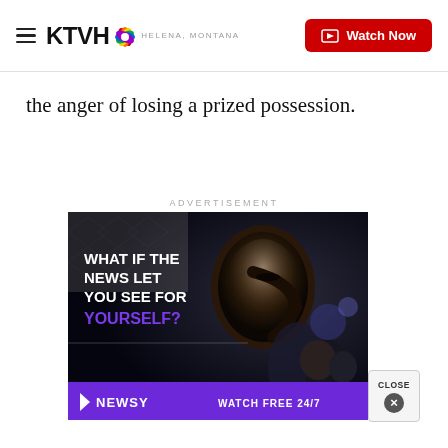KTVH NBC - Helena, Montana | Watch Now
the anger of losing a prized possession.
ADVERTISEMENT
[Figure (photo): Newsy advertisement: 'What if the news let you see for yourself?' with a close-up silhouette of a person's face and crowd in background. Purple bottom bar reads 'NEWSY WATCH FREE 24/7'.]